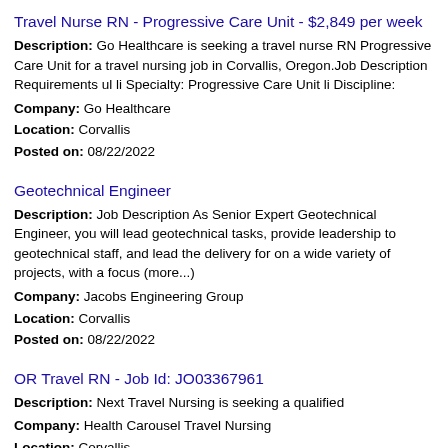Travel Nurse RN - Progressive Care Unit - $2,849 per week
Description: Go Healthcare is seeking a travel nurse RN Progressive Care Unit for a travel nursing job in Corvallis, Oregon.Job Description Requirements ul li Specialty: Progressive Care Unit li Discipline:
Company: Go Healthcare
Location: Corvallis
Posted on: 08/22/2022
Geotechnical Engineer
Description: Job Description As Senior Expert Geotechnical Engineer, you will lead geotechnical tasks, provide leadership to geotechnical staff, and lead the delivery for on a wide variety of projects, with a focus (more...)
Company: Jacobs Engineering Group
Location: Corvallis
Posted on: 08/22/2022
OR Travel RN - Job Id: JO03367961
Description: Next Travel Nursing is seeking a qualified
Company: Health Carousel Travel Nursing
Location: Corvallis
Posted on: 08/22/2022